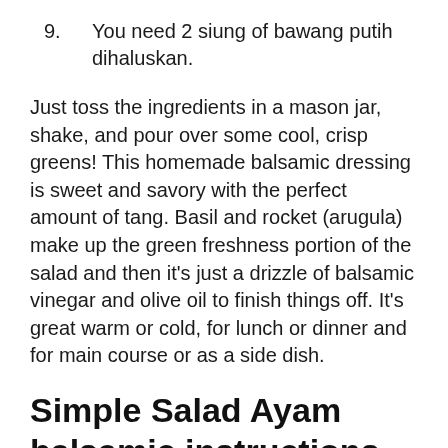9. You need 2 siung of bawang putih dihaluskan.
Just toss the ingredients in a mason jar, shake, and pour over some cool, crisp greens! This homemade balsamic dressing is sweet and savory with the perfect amount of tang. Basil and rocket (arugula) make up the green freshness portion of the salad and then it's just a drizzle of balsamic vinegar and olive oil to finish things off. It's great warm or cold, for lunch or dinner and for main course or as a side dish.
Simple Salad Ayam balsamic instructions
1. Cuci daging ayam lalu potong-potong